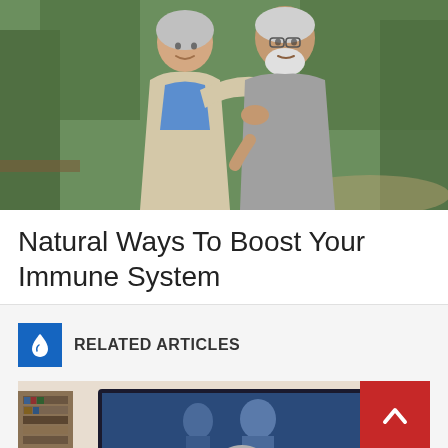[Figure (photo): Elderly couple embracing outdoors — a woman with short gray hair in a beige cardigan hugging a man with white beard in a gray sweater, smiling, with trees in background]
Natural Ways To Boost Your Immune System
RELATED ARTICLES
[Figure (photo): Older person sitting in living room watching a large television screen, with bookcase visible in background]